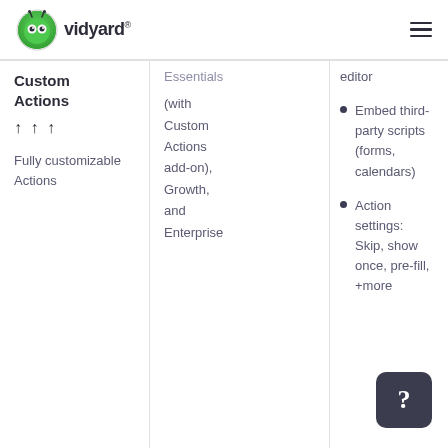Vidyard
| Feature | Plans | Details |
| --- | --- | --- |
| Custom Actions ↑↑↑
Fully customizable Actions | Essentials (with Custom Actions add-on), Growth, and Enterprise | • editor
• Embed third-party scripts (forms, calendars)
• Action settings: Skip, show once, pre-fill, +more |